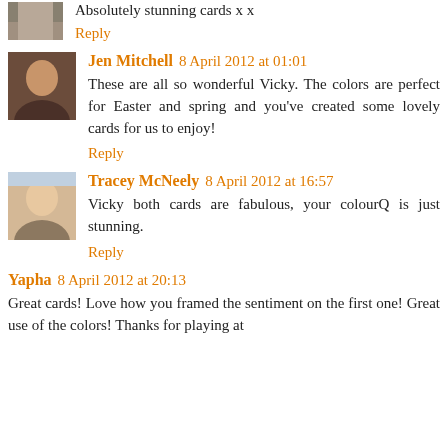Absolutely stunning cards x x
Reply
Jen Mitchell 8 April 2012 at 01:01
These are all so wonderful Vicky. The colors are perfect for Easter and spring and you've created some lovely cards for us to enjoy!
Reply
Tracey McNeely 8 April 2012 at 16:57
Vicky both cards are fabulous, your colourQ is just stunning.
Reply
Yapha 8 April 2012 at 20:13
Great cards! Love how you framed the sentiment on the first one! Great use of the colors! Thanks for playing at